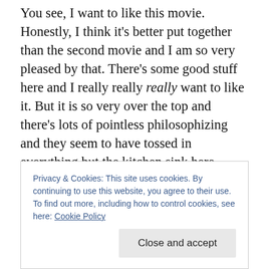You see, I want to like this movie. Honestly, I think it's better put together than the second movie and I am so very pleased by that. There's some good stuff here and I really really really want to like it. But it is so very over the top and there's lots of pointless philosophizing and they seem to have tossed in everything but the kitchen sink here. Check out the tvtrops page on this series and look at the list of tropes present. I got sucked in for an hour just reading the list, not even linking outside of the page. The prior two movies set so much up in terms of mythology and philosophy, not to mention the actual plot(s) and
Privacy & Cookies: This site uses cookies. By continuing to use this website, you agree to their use.
To find out more, including how to control cookies, see here: Cookie Policy
[Close and accept]